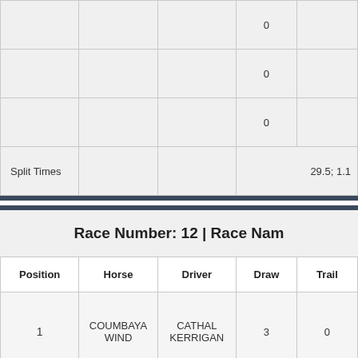|  |  |  | 0 |  |
|  |  |  | 0 |  |
|  |  |  | 0 |  |
| Split Times |  |  |  | 29.5; 1.1 |
Race Number: 12 | Race Nam...
| Position | Horse | Driver | Draw | Trail |
| --- | --- | --- | --- | --- |
| 1 | COUMBAYA WIND | CATHAL KERRIGAN | 3 | 0 |
| 2 | DONALD | MARTIN LOUGHRAN | 1 | 0 |